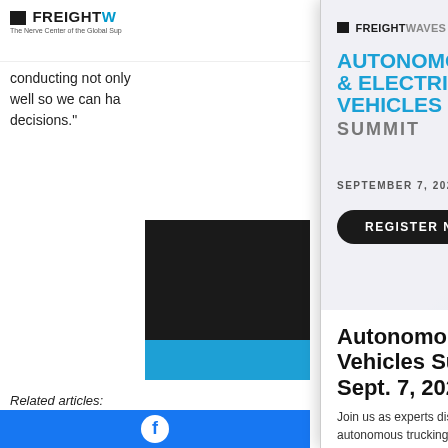FREIGHTWAVES - The Nerve Center of the Global Supply Chain
conducting not only... well so we can have... decisions."
[Figure (photo): Black and blue promotional image block partially visible]
Related articles:
Rhode Island ... into 2021: AT...
Pennsylvania ...
Connecticut t...
[Figure (infographic): FreightWaves Autonomous & Electric Vehicles Summit advertisement banner. SEPTEMBER 7, 2022. REGISTER NOW button. Illustration of blue electric semi truck at charging station.]
Autonomous & Electric Vehicles Summit | Sept. 7, 2022
Join us as experts discuss innovations in electrification and autonomous trucking
REGISTER NOW!